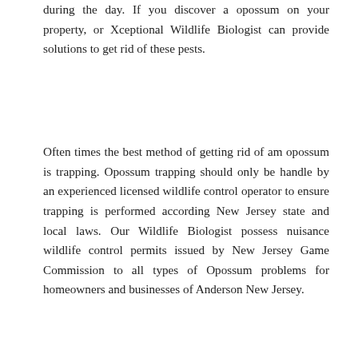during the day. If you discover a opossum on your property, or Xceptional Wildlife Biologist can provide solutions to get rid of these pests.
Often times the best method of getting rid of am opossum is trapping. Opossum trapping should only be handle by an experienced licensed wildlife control operator to ensure trapping is performed according New Jersey state and local laws. Our Wildlife Biologist possess nuisance wildlife control permits issued by New Jersey Game Commission to all types of Opossum problems for homeowners and businesses of Anderson New Jersey.